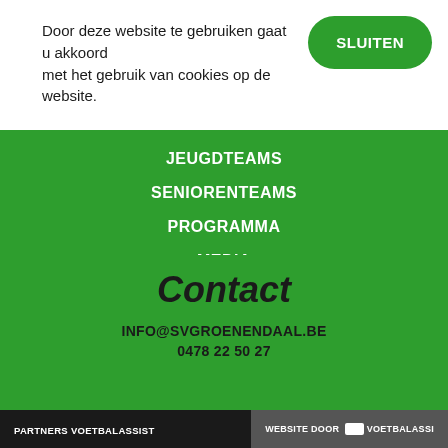Door deze website te gebruiken gaat u akkoord met het gebruik van cookies op de website.
SLUITEN
JEUGDTEAMS
SENIORENTEAMS
PROGRAMMA
MEDIA
NIEUWS
Contact
INFO@SVGROENENDAAL.BE
0478 22 50 27
PARTNERS VOETBALASSIST    WEBSITE DOOR VA VoetbalAssi...